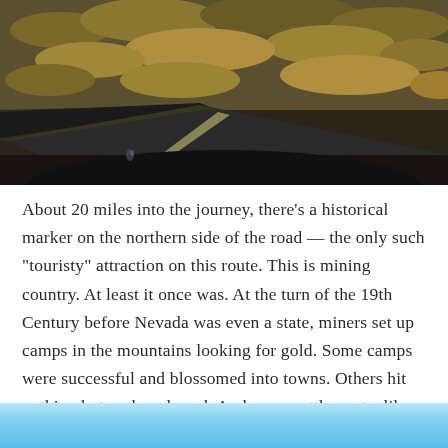[Figure (photo): Aerial or road-level photograph of a long straight highway cutting through dry Nevada desert scrubland, with golden-brown brush covering rolling terrain. Dark asphalt road with lane markings visible, shot from inside a vehicle.]
About 20 miles into the journey, there’s a historical marker on the northern side of the road — the only such “touristy” attraction on this route.  This is mining country.  At least it once was.  At the turn of the 19th Century before Nevada was even a state, miners set up camps in the mountains looking for gold.  Some camps were successful and blossomed into towns.  Others hit nothing but rock and sand.  And some settlements, like this one, simply vanished.  Here’s all that’s left.
[Figure (photo): Partial view of blue sky gradient, likely the top of another photograph below the text block.]